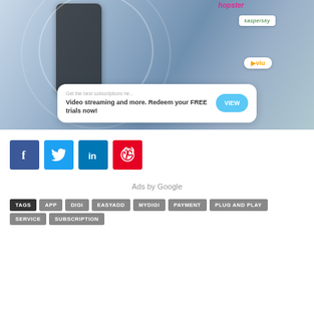[Figure (screenshot): Promotional screenshot showing a smartphone with subscription apps (Kaspersky, Hopster, Viu) and a card overlay reading 'Get the best subscriptions he... Video streaming and more. Redeem your FREE trials now!' with a cyan VIEW button.]
[Figure (infographic): Social media share buttons: Facebook (blue f), Twitter (blue bird), LinkedIn (blue in), Pinterest (red P)]
Ads by Google
TAGS  APP  DIGI  EASYADD  MYDIGI  PAYMENT  PLUG AND PLAY  SERVICE  SUBSCRIPTION